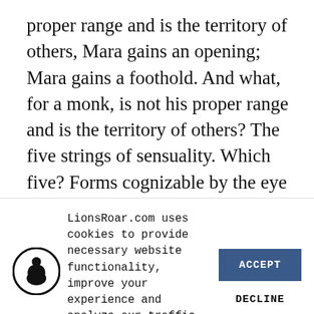proper range and is the territory of others, Mara gains an opening; Mara gains a foothold. And what, for a monk, is not his proper range and is the territory of others? The five strings of sensuality. Which five? Forms cognizable by the eye—agreeable, pleasing, charming, endearing, fostering desire, enticing. Sounds cognizable by the ear ...
[Figure (logo): LionsRoar.com circular logo with a seated Buddha silhouette in black on white background]
LionsRoar.com uses cookies to provide necessary website functionality, improve your experience and analyze our traffic. By using our website, you agree to our Privacy Policy and our cookies usage.
ACCEPT
DECLINE